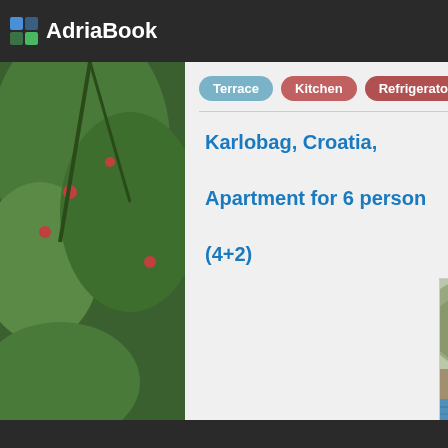AdriaBook
Terrace
Kitchen
Refrigerator
Shower
Air
Karlobag, Croatia, Apartment for 6 person (4+2)
[Figure (photo): Aerial/waterfront view of Karlobag Croatia coastal town with label 'Apartmani Niksic' and blue arrow pointing to the property]